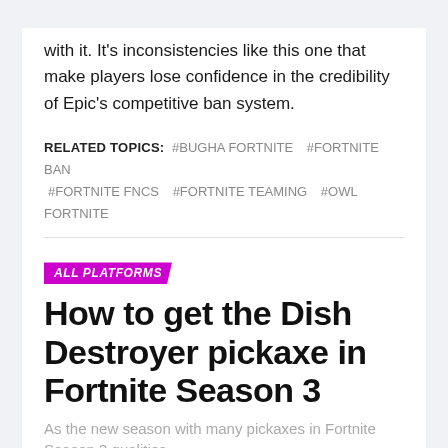with it. It's inconsistencies like this one that make players lose confidence in the credibility of Epic's competitive ban system.
RELATED TOPICS: #BUGHA FORTNITE  #FORTNITE BAN  #FORTNITE FNCS  #FORTNITE TEAMING  #OWL FORTNITE
ALL PLATFORMS
How to get the Dish Destroyer pickaxe in Fortnite Season 3
As the new season with many pickaxes in Fortnite Season 3 qualities...